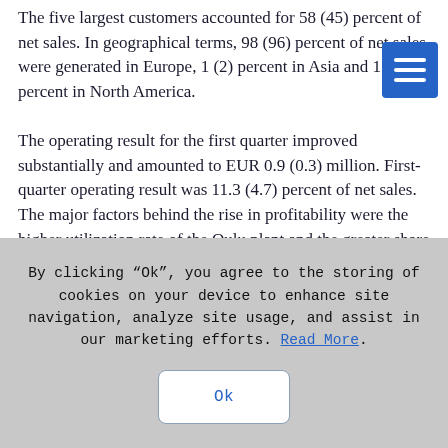The five largest customers accounted for 58 (45) percent of net sales. In geographical terms, 98 (96) percent of net sales were generated in Europe, 1 (2) percent in Asia and 1 (2) percent in North America.
The operating result for the first quarter improved substantially and amounted to EUR 0.9 (0.3) million. First-quarter operating result was 11.3 (4.7) percent of net sales. The major factors behind the rise in profitability were the higher utilization rate of the Oulu plant and the greater share accounted for by more technologically demanding products.
By clicking “Ok”, you agree to the storing of cookies on your device to enhance site navigation, analyze site usage, and assist in our marketing efforts. Read More.